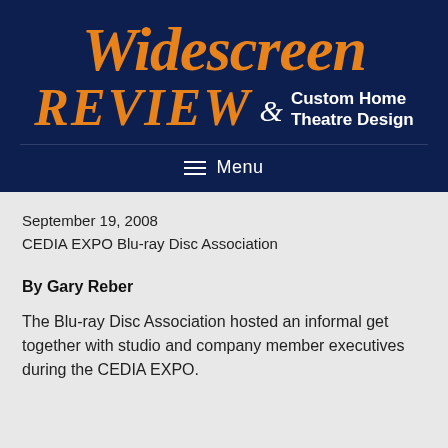[Figure (logo): Widescreen Review & Custom Home Theatre Design logo on dark navy background]
September 19, 2008
CEDIA EXPO Blu-ray Disc Association
By Gary Reber
The Blu-ray Disc Association hosted an informal get together with studio and company member executives during the CEDIA EXPO.